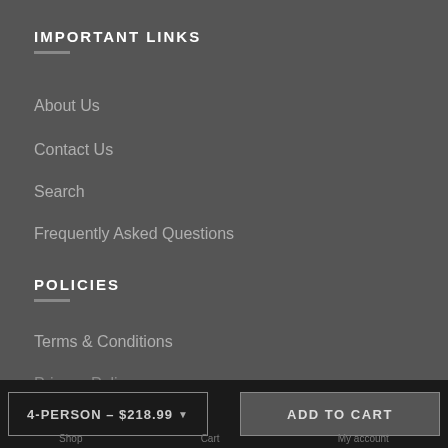IMPORTANT LINKS
About Us
Contact Us
Search
Frequently Asked Questions
POLICIES
Terms & Conditions
Privacy Policy
Returns and Refunds
NEWSLETTER
4-PERSON – $218.99   ADD TO CART